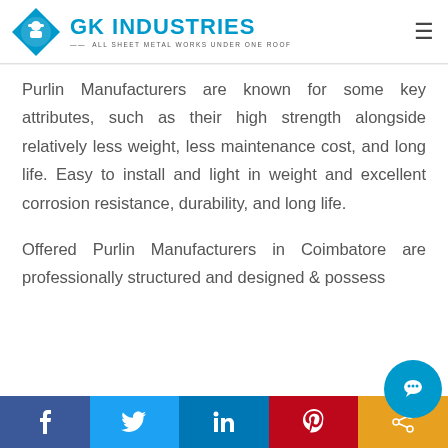GK INDUSTRIES — ALL SHEET METAL WORKS UNDER ONE ROOF
Purlin Manufacturers are known for some key attributes, such as their high strength alongside relatively less weight, less maintenance cost, and long life. Easy to install and light in weight and excellent corrosion resistance, durability, and long life.
Offered Purlin Manufacturers in Coimbatore are professionally structured and designed & possess
Facebook | Twitter | LinkedIn | Pinterest | Share